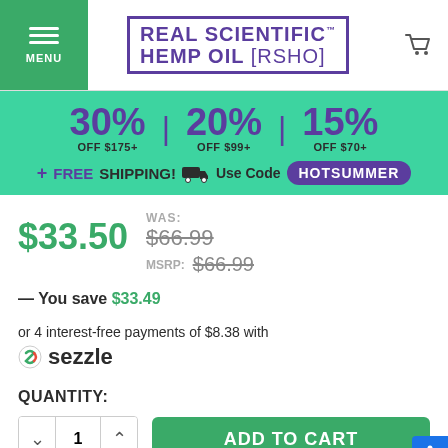[Figure (logo): Real Scientific Hemp Oil [RSHO] logo in purple with trademark symbol]
[Figure (infographic): Promotional banner: 30% OFF $175+, 20% OFF $99+, 15% OFF $70+, FREE SHIPPING, Use Code HOTSUMMER]
$33.50
WAS: $66.99 MSRP: $66.99
— You save $33.49
or 4 interest-free payments of $8.38 with sezzle
QUANTITY:
ADD TO CART